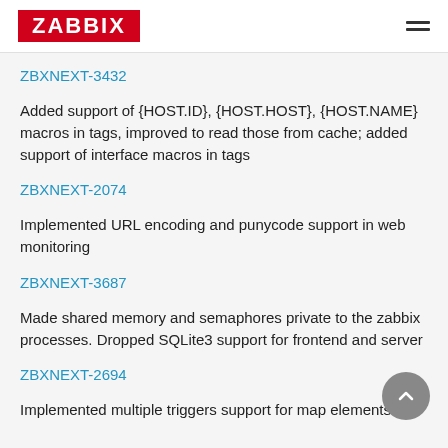ZABBIX
ZBXNEXT-3432
Added support of {HOST.ID}, {HOST.HOST}, {HOST.NAME} macros in tags, improved to read those from cache; added support of interface macros in tags
ZBXNEXT-2074
Implemented URL encoding and punycode support in web monitoring
ZBXNEXT-3687
Made shared memory and semaphores private to the zabbix processes. Dropped SQLite3 support for frontend and server
ZBXNEXT-2694
Implemented multiple triggers support for map elements